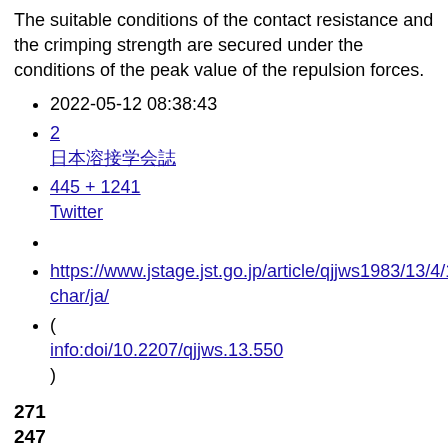The suitable conditions of the contact resistance and the crimping strength are secured under the conditions of the peak value of the repulsion forces.
2022-05-12 08:38:43
2
日本溶接学会誌
445 + 1241
Twitter
https://www.jstage.jst.go.jp/article/qjjws1983/13/4/13_4_550/char/ja/
(
info:doi/10.2207/qjjws.13.550
)
271
247
247
2
OA
日本溶接学会誌
閲覧